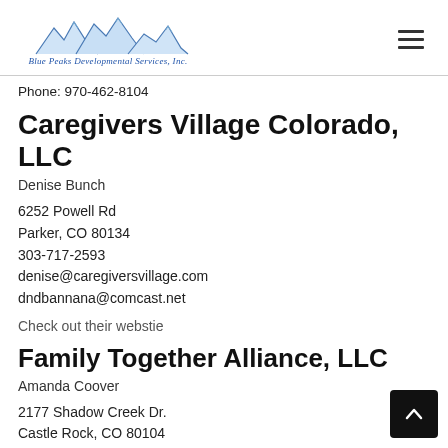[Figure (logo): Blue Peaks Developmental Services, Inc. logo with mountain illustration and cursive text]
Phone: 970-462-8104
Caregivers Village Colorado, LLC
Denise Bunch
6252 Powell Rd
Parker, CO 80134
303-717-2593
denise@caregiversvillage.com
dndbannana@comcast.net
Check out their webstie
Family Together Alliance, LLC
Amanda Coover
2177 Shadow Creek Dr.
Castle Rock, CO 80104